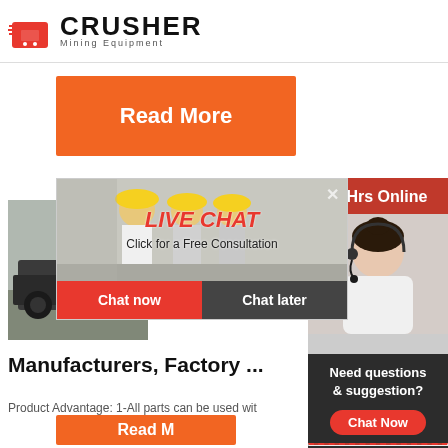[Figure (logo): Crusher Mining Equipment logo with red shopping bag icon and bold black CRUSHER text with Mining Equipment subtitle]
[Figure (other): Orange Read More button]
[Figure (other): Live chat popup overlay with construction workers in hard hats background, LIVE CHAT italic red heading, Click for a Free Consultation subtitle, Chat now red button and Chat later dark button]
[Figure (photo): Mining equipment / crusher machinery photo on left side]
[Figure (other): Right sidebar: 24Hrs Online red header, customer service agent photo with headset, Need questions & suggestion? text, Chat Now red oval button, Enquiry text, limingjlmofen@sina.com email]
Manufacturers, Factory ...
Product Advantage: 1-All parts can be used wit
[Figure (other): Orange Read More button at bottom]